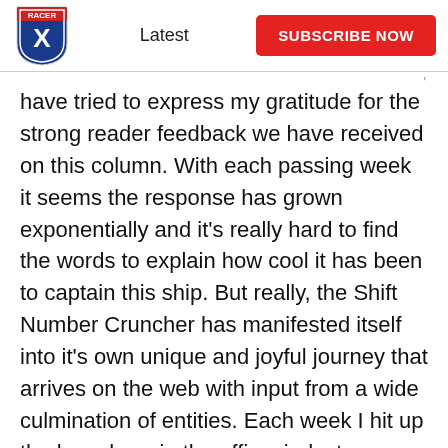Latest | SUBSCRIBE NOW
have tried to express my gratitude for the strong reader feedback we have received on this column. With each passing week it seems the response has grown exponentially and it's really hard to find the words to explain how cool it has been to captain this ship. But really, the Shift Number Cruncher has manifested itself into it's own unique and joyful journey that arrives on the web with input from a wide culmination of entities. Each week I hit up the boys here in the office, industry friends, industry associates overseas, the crew in Canada, and some really neat people I wouldn't even have met had DC